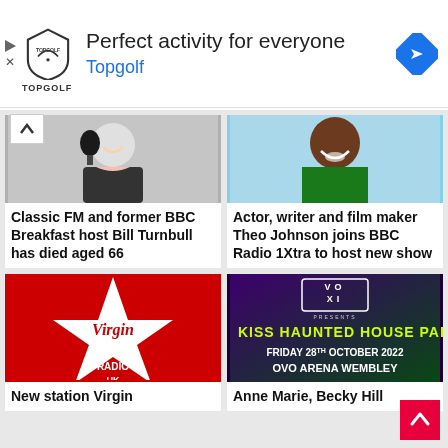[Figure (advertisement): Topgolf ad banner: logo on left, 'Perfect activity for everyone' heading, 'Topgolf' blue link text, navigation icon on right]
[Figure (photo): Photo of Bill Turnbull smiling with a microphone, wearing a dark jacket]
Classic FM and former BBC Breakfast host Bill Turnbull has died aged 66
[Figure (photo): Photo of Theo Johnson smiling, wearing a green hoodie]
Actor, writer and film maker Theo Johnson joins BBC Radio 1Xtra to host new show
[Figure (logo): Virgin Radio UK logo - white star with Virgin script on red background]
New station Virgin
[Figure (photo): KISS Haunted House Party event poster: VOXI presents, Friday 28th October 2022, OVO Arena Wembley, purple and green background]
Anne Marie, Becky Hill